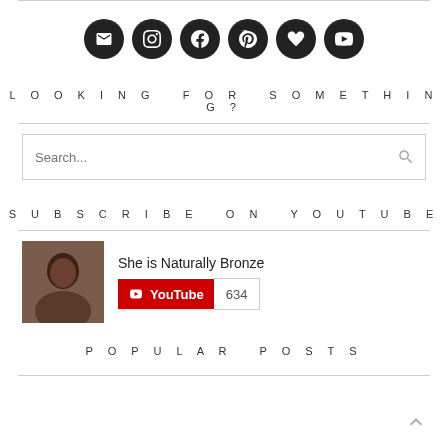[Figure (other): Row of six dark circular social media icons: email, Instagram, Facebook, Pinterest, heart/Bloglovin, YouTube]
LOOKING FOR SOMETHING?
[Figure (other): Search input box with placeholder text 'Search...' and a magnifying glass icon on the right]
SUBSCRIBE ON YOUTUBE
[Figure (other): YouTube channel widget: thumbnail photo of woman, channel name 'She is Naturally Bronze', YouTube subscribe button with count 634]
POPULAR POSTS